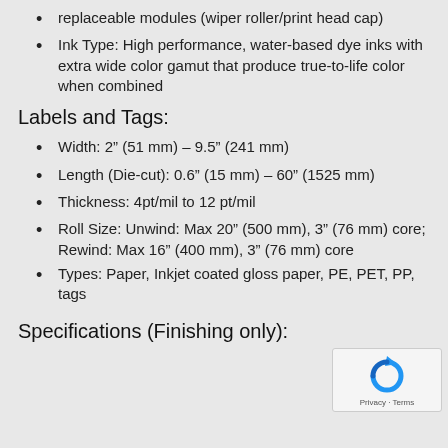replaceable modules (wiper roller/print head cap)
Ink Type: High performance, water-based dye inks with extra wide color gamut that produce true-to-life color when combined
Labels and Tags:
Width: 2” (51 mm) – 9.5” (241 mm)
Length (Die-cut): 0.6” (15 mm) – 60” (1525 mm)
Thickness: 4pt/mil to 12 pt/mil
Roll Size: Unwind: Max 20” (500 mm), 3” (76 mm) core; Rewind: Max 16” (400 mm), 3” (76 mm) core
Types: Paper, Inkjet coated gloss paper, PE, PET, PP, tags
Specifications (Finishing only):